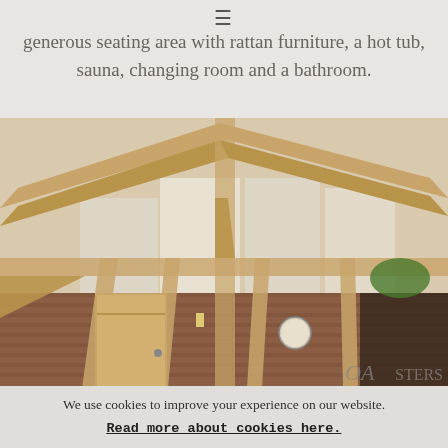≡
generous seating area with rattan furniture, a hot tub, sauna, changing room and a bathroom.
[Figure (photo): Interior photo of a barn or outbuilding showing exposed wooden beam roof trusses with a vaulted ceiling, brick walls below, a wooden door, wall lamp, clock, and decorative items. The structure features large triangular wooden framework.]
We use cookies to improve your experience on our website. Read more about cookies here.